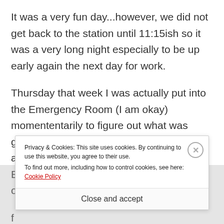It was a very fun day...however, we did not get back to the station until 11:15ish so it was a very long night especially to be up early again the next day for work.
Thursday that week I was actually put into the Emergency Room (I am okay) momententarily to figure out what was going on in my abdomen. Nothing serious and I am fine, but it was scary being in the ER by myself because none of my friends or f
Privacy & Cookies: This site uses cookies. By continuing to use this website, you agree to their use.
To find out more, including how to control cookies, see here: Cookie Policy
Close and accept